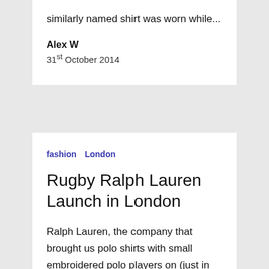similarly named shirt was worn while...
Alex W
31st October 2014
fashion   London
Rugby Ralph Lauren Launch in London
Ralph Lauren, the company that brought us polo shirts with small embroidered polo players on (just in case you were in any doubt